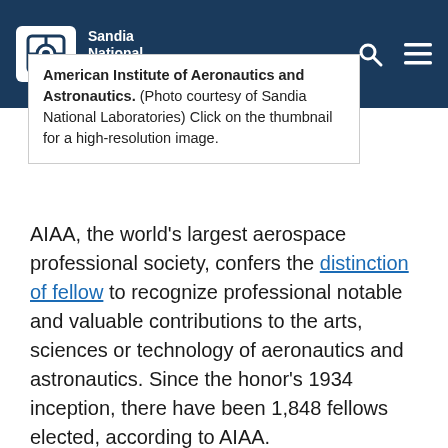Sandia National Laboratories
American Institute of Aeronautics and Astronautics. (Photo courtesy of Sandia National Laboratories) Click on the thumbnail for a high-resolution image.
AIAA, the world's largest aerospace professional society, confers the distinction of fellow to recognize professional notable and valuable contributions to the arts, sciences or technology of aeronautics and astronautics. Since the honor's 1934 inception, there have been 1,848 fellows elected, according to AIAA.
“Gary’s engineering and leadership skills have led to more than a decade of technological innovation in conventional global-strike programs. Over his career, he has helped the U.S. become a global leader in advanced hypersonic flight systems,” sai